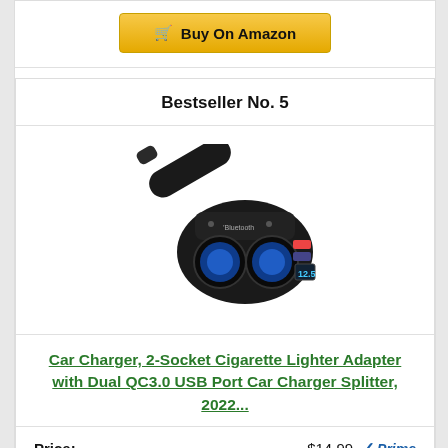Buy On Amazon
Bestseller No. 5
[Figure (photo): Car charger splitter product photo: black 2-socket cigarette lighter adapter with dual USB ports, blue-lit sockets, and a small display screen.]
Car Charger, 2-Socket Cigarette Lighter Adapter with Dual QC3.0 USB Port Car Charger Splitter, 2022...
Price: $14.99 Prime